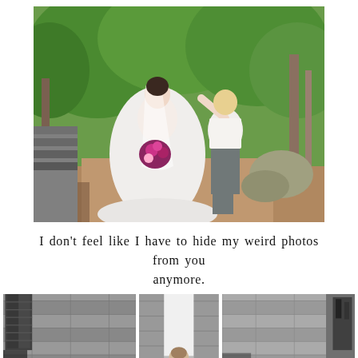[Figure (photo): A bride in a white wedding dress holding a purple bouquet stands outdoors on a gravel path surrounded by lush green trees, while another woman in a white top and grey capri pants adjusts or helps her from behind.]
I don't feel like I have to hide my weird photos from you anymore.
[Figure (photo): Three black and white photos arranged side by side showing stone masonry structures, doors, and a person visible in the bottom center of the middle photo.]